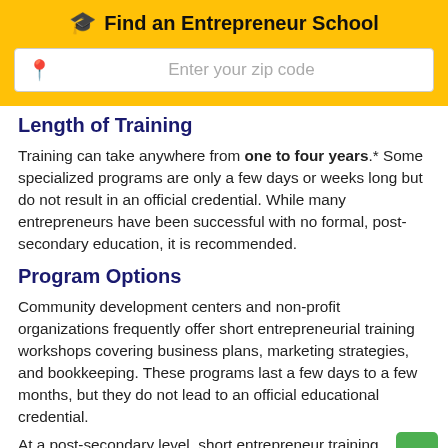Find an Entrepreneur School
Length of Training
Training can take anywhere from one to four years.* Some specialized programs are only a few days or weeks long but do not result in an official credential. While many entrepreneurs have been successful with no formal, post-secondary education, it is recommended.
Program Options
Community development centers and non-profit organizations frequently offer short entrepreneurial training workshops covering business plans, marketing strategies, and bookkeeping. These programs last a few days to a few months, but they do not lead to an official educational credential.
At a post-secondary level, short entrepreneur training